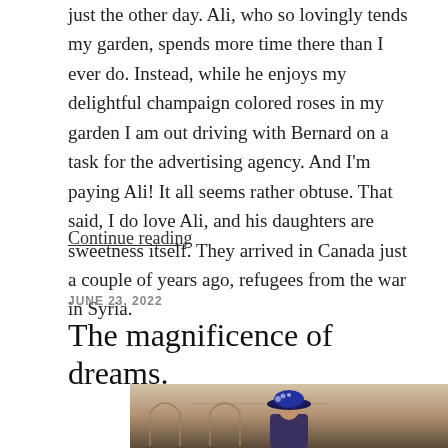just the other day. Ali, who so lovingly tends my garden, spends more time there than I ever do. Instead, while he enjoys my delightful champaign colored roses in my garden I am out driving with Bernard on a task for the advertising agency. And I'm paying Ali! It all seems rather obtuse. That said, I do love Ali, and his daughters are sweetness itself. They arrived in Canada just a couple of years ago, refugees from the war in Syria.
Continue reading
JUNE 23, 2022
The magnificence of dreams.
[Figure (photo): A person wearing a blue hat with floral decoration, photographed inside an ornate building with arched architectural details in warm brown tones.]